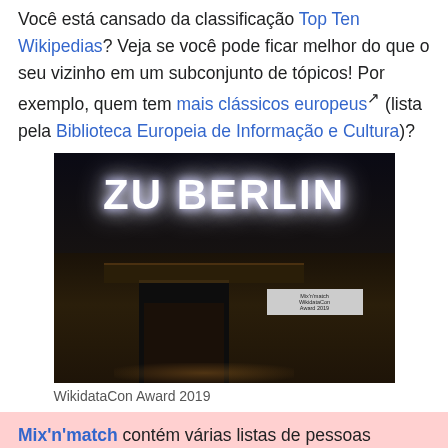Você está cansado da classificação Top Ten Wikipedias? Veja se você pode ficar melhor do que o seu vizinho em um subconjunto de tópicos! Por exemplo, quem tem mais clássicos europeus↗ (lista pela Biblioteca Europeia de Informação e Cultura)?
[Figure (photo): Night-time photo of a building entrance with illuminated sign reading 'ZU BERLIN' in large white letters on a dark background.]
WikidataCon Award 2019
Mix'n'match contém várias listas de pessoas importantes de fontes confiáveis e permite combinar os nomes para entradas com um clique para Wikidata. Depois que todos